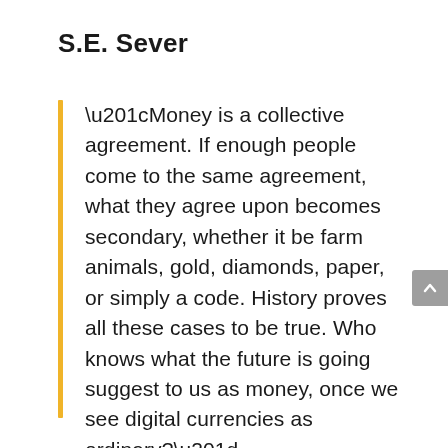S.E. Sever
“Money is a collective agreement. If enough people come to the same agreement, what they agree upon becomes secondary, whether it be farm animals, gold, diamonds, paper, or simply a code. History proves all these cases to be true. Who knows what the future is going suggest to us as money, once we see digital currencies as ordinary?”